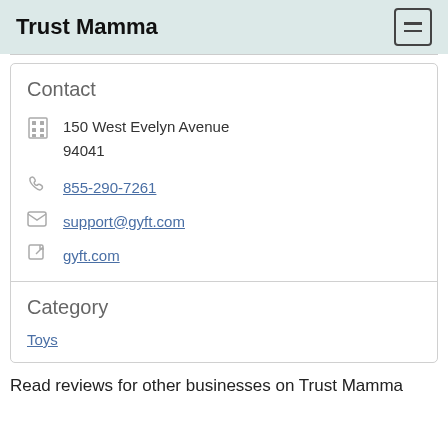Trust Mamma
Contact
150 West Evelyn Avenue
94041
855-290-7261
support@gyft.com
gyft.com
Category
Toys
Read reviews for other businesses on Trust Mamma